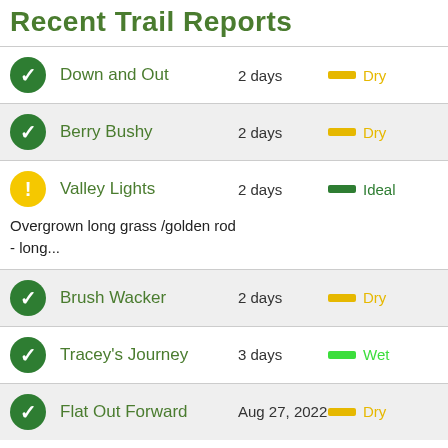Recent Trail Reports
Down and Out | 2 days | Dry
Berry Bushy | 2 days | Dry
Valley Lights | 2 days | Ideal | Overgrown long grass /golden rod - long...
Brush Wacker | 2 days | Dry
Tracey's Journey | 3 days | Wet
Flat Out Forward | Aug 27, 2022 | Dry